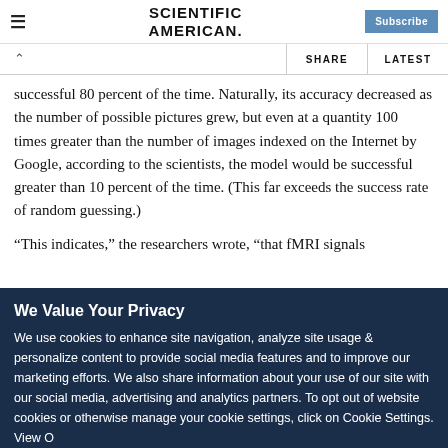SCIENTIFIC AMERICAN — Subscribe
SHARE | LATEST
successful 80 percent of the time. Naturally, its accuracy decreased as the number of possible pictures grew, but even at a quantity 100 times greater than the number of images indexed on the Internet by Google, according to the scientists, the model would be successful greater than 10 percent of the time. (This far exceeds the success rate of random guessing.)
"This indicates," the researchers wrote, "that fMRI signals
We Value Your Privacy
We use cookies to enhance site navigation, analyze site usage & personalize content to provide social media features and to improve our marketing efforts. We also share information about your use of our site with our social media, advertising and analytics partners. To opt out of website cookies or otherwise manage your cookie settings, click on Cookie Settings. View O...